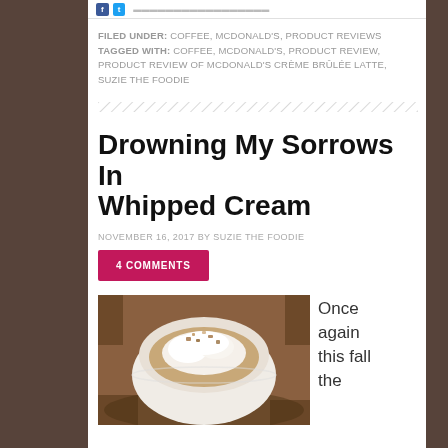FILED UNDER: COFFEE, MCDONALD'S, PRODUCT REVIEWS
TAGGED WITH: COFFEE, MCDONALD'S, PRODUCT REVIEW, PRODUCT REVIEW OF MCDONALD'S CRÈME BRÛLÉE LATTE, SUZIE THE FOODIE
Drowning My Sorrows In Whipped Cream
NOVEMBER 16, 2017 BY SUZIE THE FOODIE
4 COMMENTS
[Figure (photo): A close-up photo of a latte or coffee drink topped with whipped cream and caramel/toffee crumble in a white bowl/mug, shot from above at an angle]
Once again this fall the